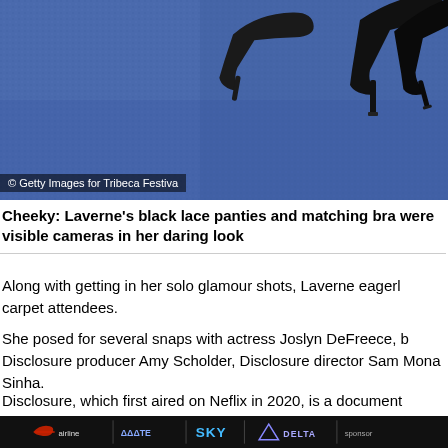[Figure (photo): Close-up photo of black high-heel shoes on a blue carpet/textile surface]
© Getty Images for Tribeca Festiva
Cheeky: Laverne's black lace panties and matching bra were visible cameras in her daring look
Along with getting in her solo glamour shots, Laverne eagerly carpet attendees.
She posed for several snaps with actress Joslyn DeFreece, b Disclosure producer Amy Scholder, Disclosure director Sam Mona Sinha.
Disclosure, which first aired on Neflix in 2020, is a document 'unprecedented, eye-opening look at transgender depictions revealing how Hollywood simultaneously reflects and manu anxieties about gender,' as per NYC Pride.
[Figure (other): Advertisement bar with logos: airline logos and SKY, DELTA brands]